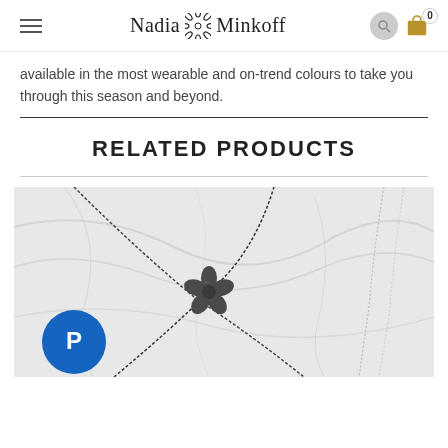Nadia Minkoff
available in the most wearable and on-trend colours to take you through this season and beyond.
RELATED PRODUCTS
[Figure (photo): Product photo showing two necklaces on a marble background — a dark gunmetal-toned floral pendant on a dark chain, and a delicate silver chain. A PayPal badge/button is visible in the bottom-left corner of the image.]